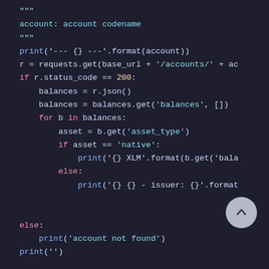[Figure (screenshot): Python code editor screenshot on dark background showing code that checks account balances using requests library, iterates through balances and prints XLM or issuer info, with a scroll-to-top button overlay]